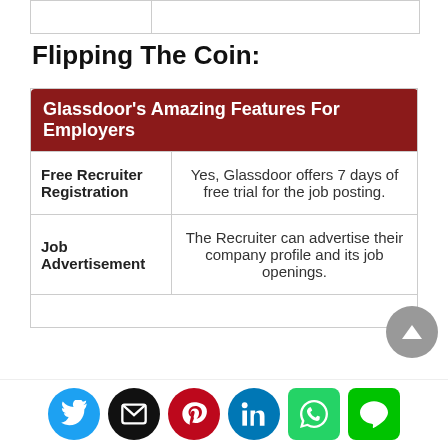Flipping The Coin:
| Glassdoor's Amazing Features For Employers |
| --- |
| Free Recruiter Registration | Yes, Glassdoor offers 7 days of free trial for the job posting. |
| Job Advertisement | The Recruiter can advertise their company profile and its job openings. |
|  |  |
Social share buttons: Twitter, Email, Pinterest, LinkedIn, WhatsApp, Line